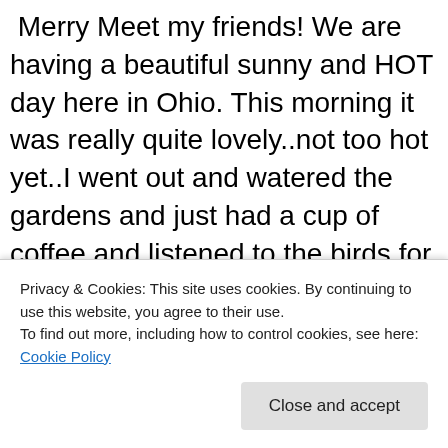Merry Meet my friends! We are having a beautiful sunny and HOT day here in Ohio. This morning it was really quite lovely..not too hot yet..I went out and watered the gardens and just had a cup of coffee and listened to the birds for a bit. Here we are past 4th of July already and for me Summer seems to be going quite fast. I am..yes..already thinking about Autumn..as it's my favorite time of year…as those who know me already know that 🙂 Lughnasadh or Lammas is approaching quickly also. I have my altars to do, some bread baking to do, I want to make some herbal oils and vinegars also. I plan on making rosemary infused...
Privacy & Cookies: This site uses cookies. By continuing to use this website, you agree to their use.
To find out more, including how to control cookies, see here: Cookie Policy
Close and accept